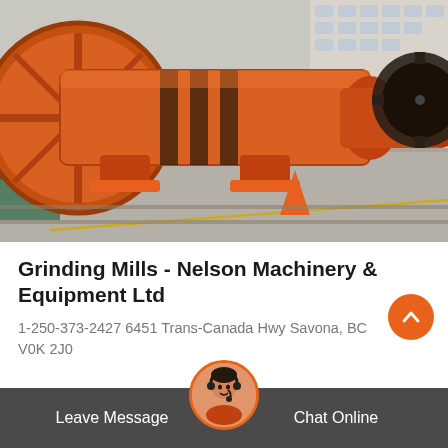[Figure (photo): Large orange industrial grinding mill / rotary drum machinery displayed outdoors on a factory or industrial yard floor, with a large circular flange on the left and cylindrical drums extending to the right, buildings visible in background.]
Grinding Mills - Nelson Machinery & Equipment Ltd
1-250-373-2427 6451 Trans-Canada Hwy Savona, BC V0K 2J0
Leave Message
Chat Online